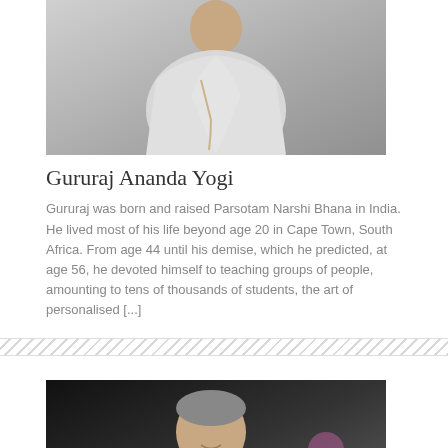[Figure (photo): Portrait photo of Gururaj Ananda Yogi, a spiritual teacher, shown from the chest up wearing white/grey robes with prayer beads]
Gururaj Ananda Yogi
Gururaj was born and raised Parsotam Narshi Bhana in India. He lived most of his life beyond age 20 in Cape Town, South Africa. From age 44 until his demise, which he predicted, at age 56, he devoted himself to teaching groups of people, amounting to tens of thousands of students, the art of personalised [...]
[Figure (photo): Portrait photo of a man (likely Gururaj) seated, wearing a light blue kurta with prayer beads, smiling, with a dark background and flowers visible]
Uttering words of an aggressive nature